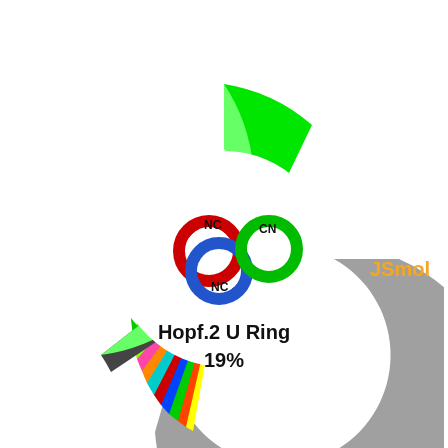[Figure (donut-chart): Donut chart showing Hopf.2 U Ring topology at 19%, with a central icon of interlocked rings labeled NC and CN]
JSmol